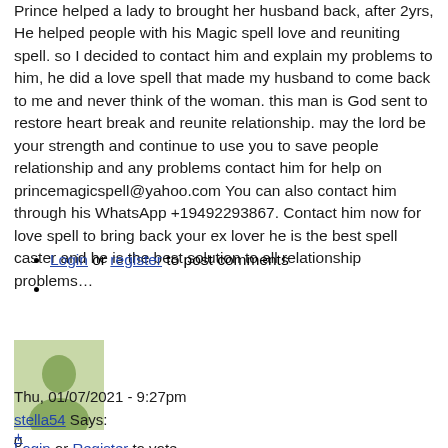Prince helped a lady to brought her husband back, after 2yrs, He helped people with his Magic spell love and reuniting spell. so I decided to contact him and explain my problems to him, he did a love spell that made my husband to come back to me and never think of the woman. this man is God sent to restore heart break and reunite relationship. may the lord be your strength and continue to use you to save people relationship and any problems contact him for help on princemagicspell@yahoo.com You can also contact him through his WhatsApp +19492293867. Contact him now for love spell to bring back your ex lover he is the best spell caster and he is the best solution to all relationship problems…
Login or register to post comments
[Figure (illustration): Generic user avatar: silhouette of a person in muted green/olive tones on a lighter green background square]
Thu, 01/07/2021 - 9:27pm
stella54 Says:
0
+ Login or Register to vote